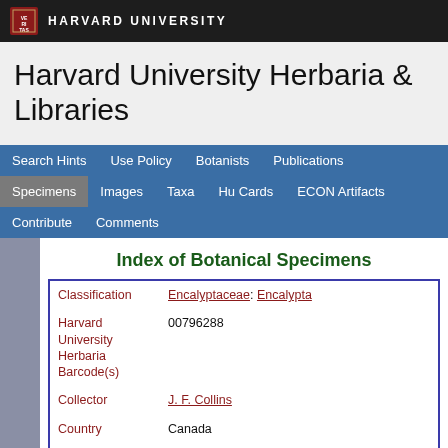HARVARD UNIVERSITY
Harvard University Herbaria & Libraries
Search Hints  Use Policy  Botanists  Publications  Specimens  Images  Taxa  Hu Cards  ECON Artifacts  Contribute  Comments
Index of Botanical Specimens
| Field | Value |
| --- | --- |
| Classification | Encalyptaceae: Encalypta |
| Harvard University Herbaria Barcode(s) | 00796288 |
| Collector | J. F. Collins |
| Country | Canada |
| State | Quebec Province |
| Geography | North America: North America (CA, US, MX) (Region): Canada: Quebec Province: Bas-Saint-Laurent (Quebec): |